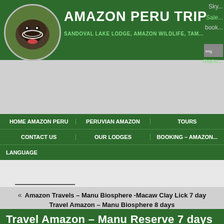[Figure (photo): Circular logo with animal photo (tamandua or similar mammal with open mouth) on dark green background]
AMAZON PERU TRIP
SANDOVAL LAKE LODGE, AMAZON WILDLIFE, TAM...
Sky... Sale... book...
[Figure (photo): Small image placeholder for manu lodge]
manu
HOME AMAZON PERU | PERUVIAN AMAZON | TOURS | CONTACT US | OUR LODGES | BOOKING – AMAZON | LANGUAGE
« Amazon Travels – Manu Biosphere -Macaw Clay Lick 7 day
Travel Amazon – Manu Biosphere 8 days
Travel Amazon – Manu Reserve 7 days
Travel Amazon – Manu Reserve 7 days